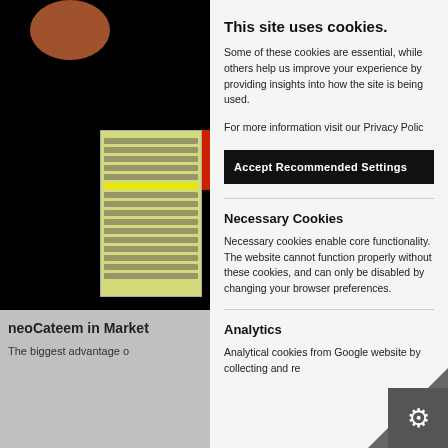[Figure (screenshot): Left panel showing a website with a dark photo area containing a circular profile photo at top, a notebook/journal image overlaid on a black background, and below it a grey section with heading text.]
neoCateem in Market
The biggest advantage o
This site uses cookies.
Some of these cookies are essential, while others help us improve your experience by providing insights into how the site is being used.
For more information visit our Privacy Polic
Accept Recommended Settings
Necessary Cookies
Necessary cookies enable core functionality. The website cannot function properly without these cookies, and can only be disabled by changing your browser preferences.
Analytics
Analytical cookies from Google website by collecting and re